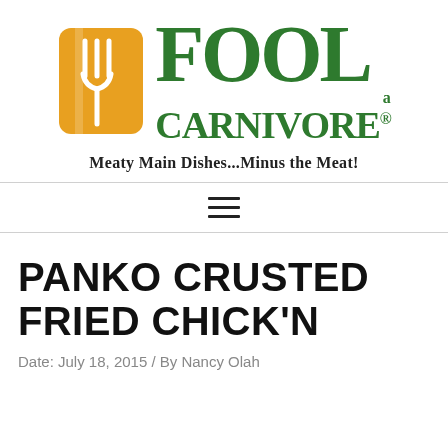[Figure (logo): Fool a Carnivore logo: gold/amber rounded rectangle with white fork silhouette on left, large green serif text 'FOOL' on top, smaller 'a' below, 'CARNIVORE®' below that]
Meaty Main Dishes...Minus the Meat!
PANKO CRUSTED FRIED CHICK'N
Date: July 18, 2015 / By Nancy Olah